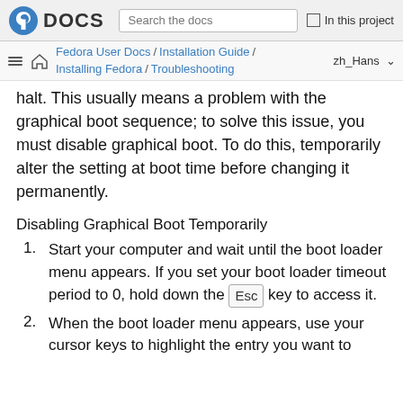Fedora DOCS | Search the docs | In this project
Fedora User Docs / Installation Guide / Installing Fedora / Troubleshooting | zh_Hans
halt. This usually means a problem with the graphical boot sequence; to solve this issue, you must disable graphical boot. To do this, temporarily alter the setting at boot time before changing it permanently.
Disabling Graphical Boot Temporarily
Start your computer and wait until the boot loader menu appears. If you set your boot loader timeout period to 0, hold down the Esc key to access it.
When the boot loader menu appears, use your cursor keys to highlight the entry you want to